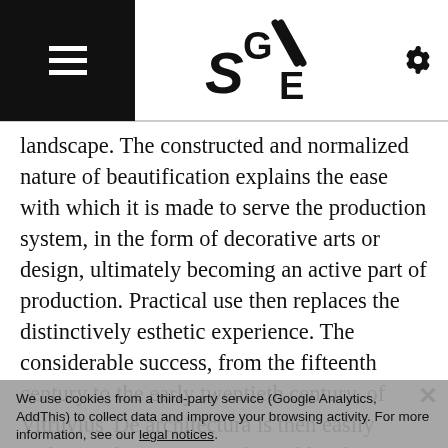SIGNE logo with hamburger menu and settings icon
landscape. The constructed and normalized nature of beautification explains the ease with which it is made to serve the production system, in the form of decorative arts or design, ultimately becoming an active part of production. Practical use then replaces the distinctively esthetic experience. The considerable success, from the fifteenth century to the early twentieth century, of Vitruvius’ De architectura is then easily understood as it it proved capable of providing a coherent and comprehensive palette of tools for the design and production which were capable of generating beauty under all circumstances—well beyond the simple building… classicism isn’t simply an easily recognized and united artistic style, but more fundamentally a paradigm—a paradigm of
We use cookies from a third-party service (Google Analytics, AddThis) to collect data and improve your browsing activity. For more information, see our legal notices.